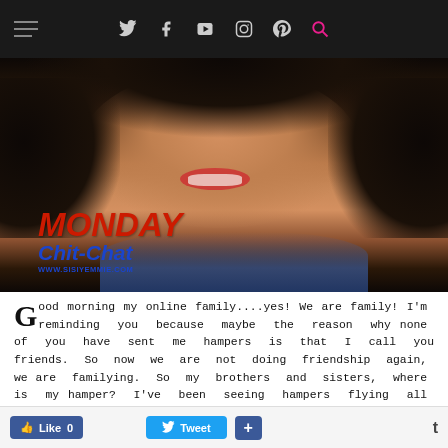Navigation bar with hamburger menu and social icons: Twitter, Facebook, YouTube, Instagram, Pinterest, Search
[Figure (photo): Close-up photo of a smiling Black woman with natural curly hair and red lipstick, overlaid with 'MONDAY Chit-Chat www.sisiyemmie.com' branding]
Good morning my online family....yes! We are family! I'm reminding you because maybe the reason why none of you have sent me hampers is that I call you friends. So now we are not doing friendship again, we are familying. So my brothers and sisters, where is my hamper? I've been seeing hampers flying all round, everywhere, nobody gives hampers pass Nigerians and [partially visible text] stop for my h[amper]
Like 0  Tweet  +  t